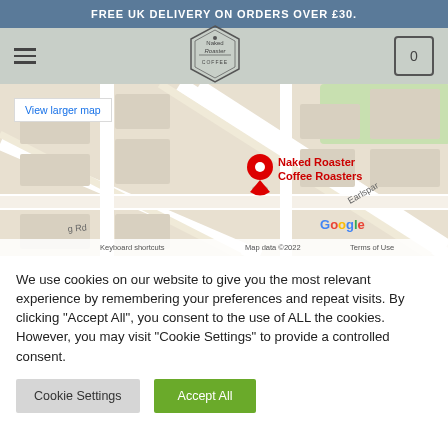FREE UK DELIVERY ON ORDERS OVER £30.
[Figure (logo): Naked Roaster Coffee hexagonal logo in the navigation bar]
[Figure (map): Google Maps screenshot showing Naked Roaster Coffee Roasters location with a red pin marker. Shows street map with label 'Naked Roaster Coffee Roasters', Google logo, 'Keyboard shortcuts', 'Map data ©2022', 'Terms of Use'. 'View larger map' button in top left.]
We use cookies on our website to give you the most relevant experience by remembering your preferences and repeat visits. By clicking "Accept All", you consent to the use of ALL the cookies. However, you may visit "Cookie Settings" to provide a controlled consent.
Cookie Settings
Accept All